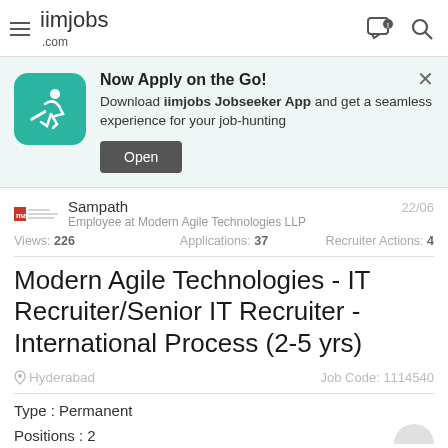iimjobs.com
[Figure (infographic): App download banner: teal icon with running figure, text 'Now Apply on the Go! Download iimjobs Jobseeker App and get a seamless experience for your job-hunting', Open button, X close button]
Sampath  22/06
Employee at Modern Agile Technologies LLP
Views: 226   Applications: 37   Recruiter Actions: 4
Modern Agile Technologies - IT Recruiter/Senior IT Recruiter - International Process (2-5 yrs)
Hyderabad   Job Code: 1114540
Type : Permanent
Positions : 2